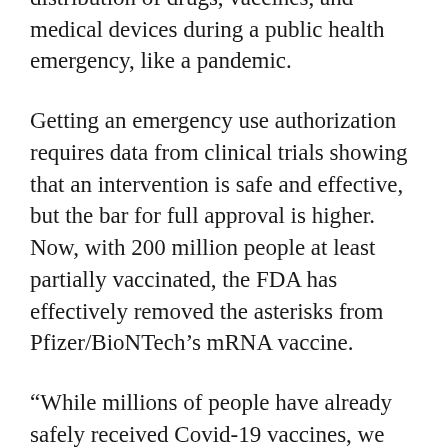distribution of drugs, vaccines, and medical devices during a public health emergency, like a pandemic.
Getting an emergency use authorization requires data from clinical trials showing that an intervention is safe and effective, but the bar for full approval is higher. Now, with 200 million people at least partially vaccinated, the FDA has effectively removed the asterisks from Pfizer/BioNTech's mRNA vaccine.
“While millions of people have already safely received Covid-19 vaccines, we recognize that for some, the FDA approval of a vaccine may now instill additional confidence to get vaccinated,” said Janet Woodcock, acting commissioner of the FDA, in a statement on Monday.